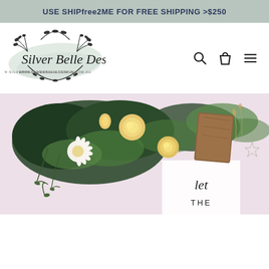USE SHIPfree2ME FOR FREE SHIPPING >$250
[Figure (logo): Silver Belle Design logo with floral wreath, brush stroke background, and website www.silverbelledesign.com.au]
[Figure (photo): Wedding decoration photo featuring floral arrangement with yellow roses, white daisies, greenery, and a wooden sign. Bottom of image shows a white acrylic sign with cursive text 'let THE']